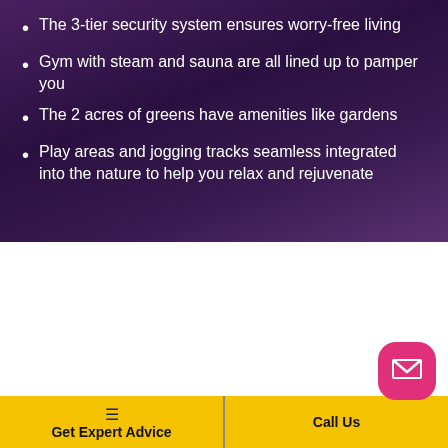The 3-tier security system ensures worry-free living
Gym with steam and sauna are all lined up to pamper you
The 2 acres of greens have amenities like gardens
Play areas and jogging tracks seamless integrated into the nature to help you relax and rejuvenate
Godrej Ananda Amenities
Get Expert Advice
Call Us